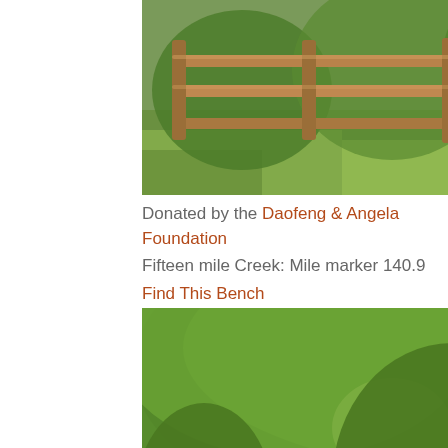[Figure (photo): Outdoor photo showing a wooden railing/fence structure with green grass and trees in the background, sunlit scene]
Donated by the Daofeng & Angela Foundation
Fifteen mile Creek: Mile marker 140.9
Find This Bench
[Figure (photo): Outdoor park or trail path scene with large trees, green foliage, a winding road/path, and dappled sunlight]